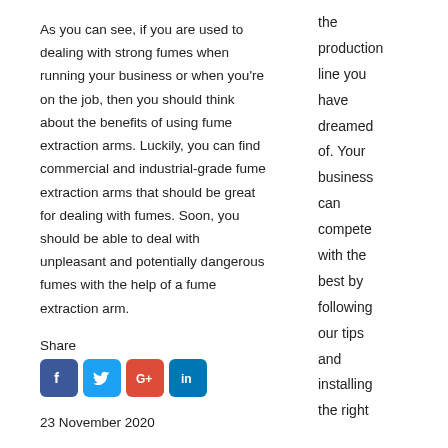As you can see, if you are used to dealing with strong fumes when running your business or when you're on the job, then you should think about the benefits of using fume extraction arms. Luckily, you can find commercial and industrial-grade fume extraction arms that should be great for dealing with fumes. Soon, you should be able to deal with unpleasant and potentially dangerous fumes with the help of a fume extraction arm.
Share
[Figure (infographic): Social media share buttons: Facebook, Twitter, Google+, LinkedIn]
23 November 2020
the production line you have dreamed of. Your business can compete with the best by following our tips and installing the right